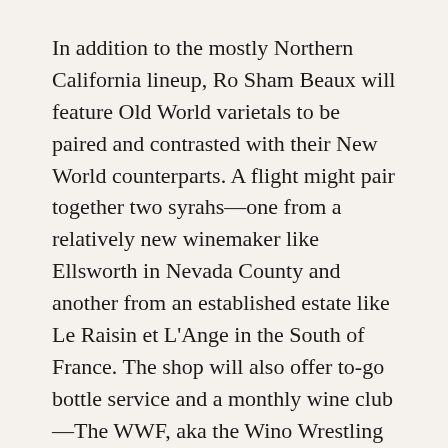In addition to the mostly Northern California lineup, Ro Sham Beaux will feature Old World varietals to be paired and contrasted with their New World counterparts. A flight might pair together two syrahs—one from a relatively new winemaker like Ellsworth in Nevada County and another from an established estate like Le Raisin et L'Ange in the South of France. The shop will also offer to-go bottle service and a monthly wine club—The WWF, aka the Wino Wrestling Federation—which starts in February and will always include two labels not sold in stores.
The menu will also incorporate on-tap wine